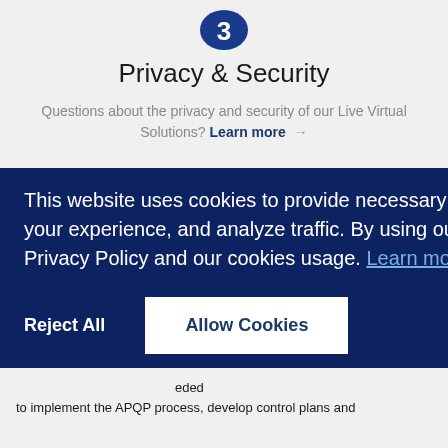[Figure (logo): Partial blue shield/lock icon at top center]
Privacy & Security
Questions about the privacy and security of our Live Virtual Solutions? Learn more →
This website uses cookies to provide necessary website functionality, improve your experience, and analyze traffic. By using our website you agree to our Privacy Policy and our cookies usage. Learn more
Reject All
Allow Cookies
eded to implement the APQP process, develop control plans and